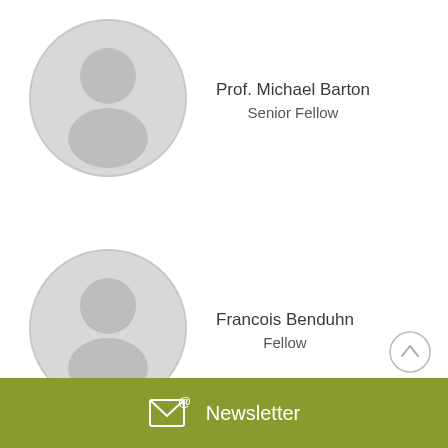[Figure (illustration): Placeholder avatar circle for Prof. Michael Barton]
Prof. Michael Barton
Senior Fellow
[Figure (illustration): Placeholder avatar circle for Francois Benduhn]
Francois Benduhn
Fellow
[Figure (other): Scroll-up button circle with chevron]
Newsletter